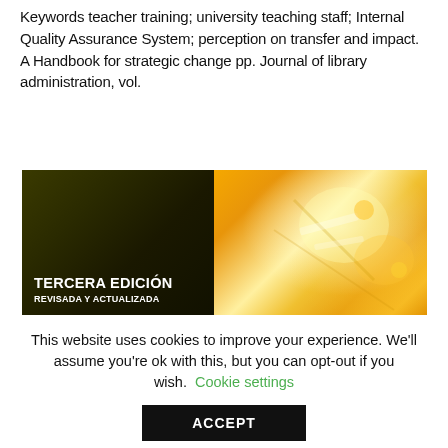Keywords teacher training; university teaching staff; Internal Quality Assurance System; perception on transfer and impact. A Handbook for strategic change pp. Journal of library administration, vol.
[Figure (photo): Book cover image split into two halves: left half is dark olive/black background with white bold text reading 'TERCERA EDICIÓN' and 'REVISADA Y ACTUALIZADA'; right half shows a colorful orange and yellow background with stationery/school supplies imagery.]
This website uses cookies to improve your experience. We'll assume you're ok with this, but you can opt-out if you wish. Cookie settings
ACCEPT